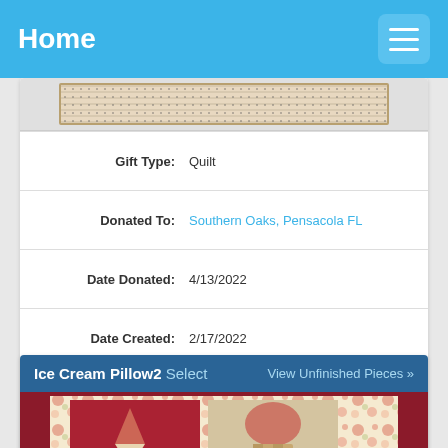Home
[Figure (photo): Partial view of a quilt with dotted/patterned fabric strip, framed with a wooden border]
| Gift Type: | Quilt |
| Donated To: | Southern Oaks, Pensacola FL |
| Date Donated: | 4/13/2022 |
| Date Created: | 2/17/2022 |
| Finished By: | Peggy; all motifs stitched by Gloria M. |
| Total Pieces: | 9 |
Ice Cream Pillow2 Select   View Unfinished Pieces »
[Figure (photo): Ice cream pillow with floral fabric border and appliqued ice cream motifs on red/beige squares]